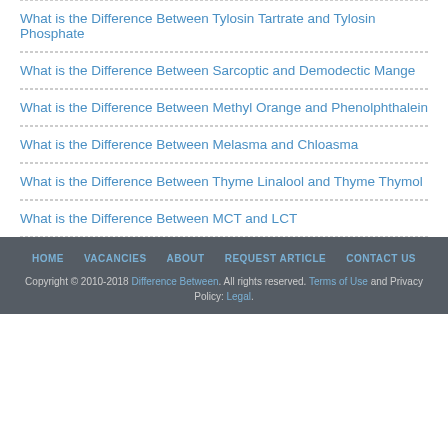What is the Difference Between Tylosin Tartrate and Tylosin Phosphate
What is the Difference Between Sarcoptic and Demodectic Mange
What is the Difference Between Methyl Orange and Phenolphthalein
What is the Difference Between Melasma and Chloasma
What is the Difference Between Thyme Linalool and Thyme Thymol
What is the Difference Between MCT and LCT
HOME  VACANCIES  ABOUT  REQUEST ARTICLE  CONTACT US  Copyright © 2010-2018 Difference Between. All rights reserved. Terms of Use and Privacy Policy: Legal.